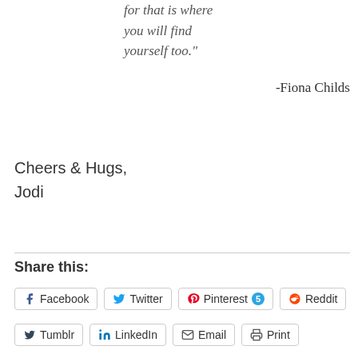for that is where you will find yourself too."
-Fiona Childs
Cheers & Hugs,
Jodi
Share this:
Facebook  Twitter  Pinterest 5  Reddit
Tumblr  LinkedIn  Email  Print